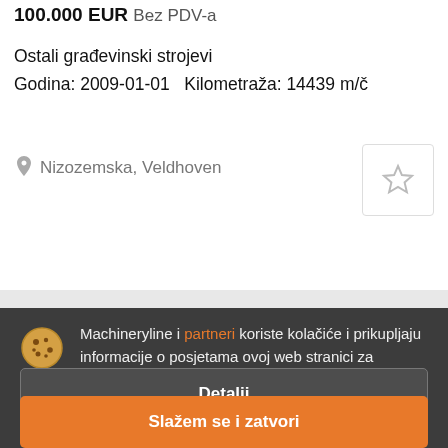100.000 EUR  Bez PDV-a
Ostali građevinski strojevi
Godina: 2009-01-01   Kilometraža: 14439 m/č
Nizozemska, Veldhoven
Machineryline i partneri koriste kolačiće i prikupljaju informacije o posjetama ovoj web stranici za personalizaciju oglasa
Detalji
Slažem se i zatvori